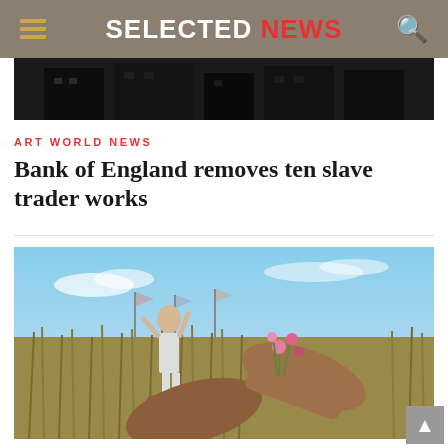SELECTED NEWS
[Figure (photo): Dark building exterior photo strip at top of article]
ART WORLD NEWS
Bank of England removes ten slave trader works
[Figure (photo): Two pairs of hands exchanging pink flowers in a field, with a person in the background reaching up among tall grass and flags]